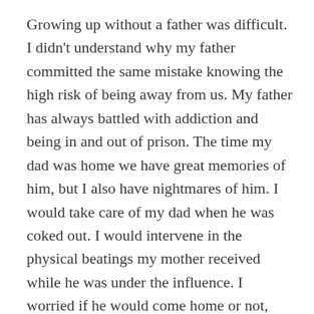Growing up without a father was difficult. I didn't understand why my father committed the same mistake knowing the high risk of being away from us. My father has always battled with addiction and being in and out of prison. The time my dad was home we have great memories of him, but I also have nightmares of him. I would take care of my dad when he was coked out. I would intervene in the physical beatings my mother received while he was under the influence. I worried if he would come home or not, and if he came home, I feared what state he would be in.
I'm a daddy's girl 100% however, it does get overwhelming. It made me a giver and a nurturer yet gave me a cold heart. Although my father is no longer incarcerated, he struggles with his addiction.